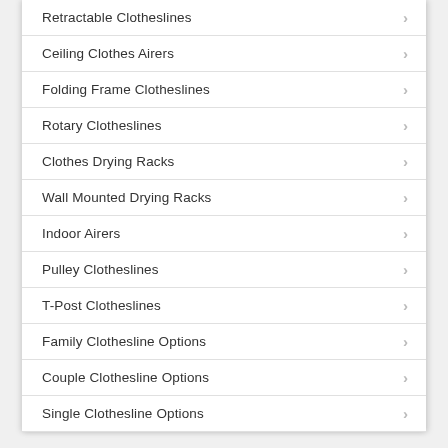Retractable Clotheslines
Ceiling Clothes Airers
Folding Frame Clotheslines
Rotary Clotheslines
Clothes Drying Racks
Wall Mounted Drying Racks
Indoor Airers
Pulley Clotheslines
T-Post Clotheslines
Family Clothesline Options
Couple Clothesline Options
Single Clothesline Options